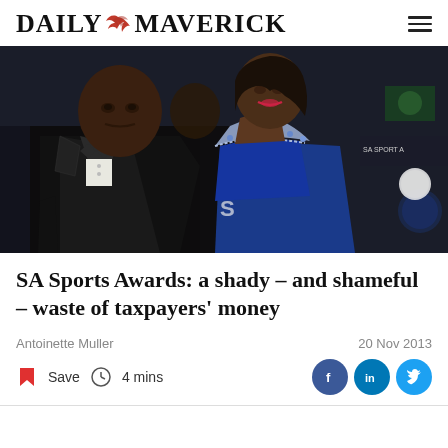DAILY MAVERICK
[Figure (photo): Two people at the SA Sports Awards event. A man in a black tuxedo with bow tie on the left, and a woman in a royal blue dress with beaded neckline on the right. A third person is visible in the background. SA Sport Awards backdrop visible.]
SA Sports Awards: a shady – and shameful – waste of taxpayers' money
Antoinette Muller
20 Nov 2013
Save  4 mins